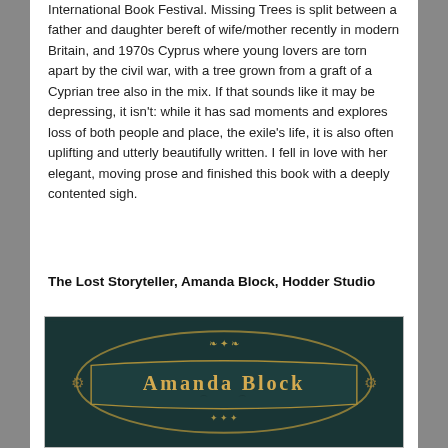International Book Festival. Missing Trees is split between a father and daughter bereft of wife/mother recently in modern Britain, and 1970s Cyprus where young lovers are torn apart by the civil war, with a tree grown from a graft of a Cyprian tree also in the mix. If that sounds like it may be depressing, it isn't: while it has sad moments and explores loss of both people and place, the exile's life, it is also often uplifting and utterly beautifully written. I fell in love with her elegant, moving prose and finished this book with a deeply contented sigh.
The Lost Storyteller, Amanda Block, Hodder Studio
[Figure (photo): Book cover of 'The Lost Storyteller' by Amanda Block, Hodder Studio. Dark teal/green background with ornate golden decorative frame and lettering showing 'Amanda Block' in styled text.]